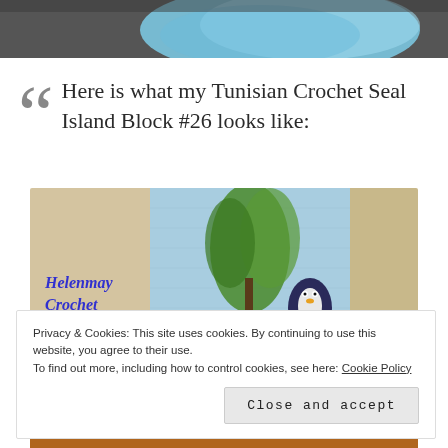[Figure (photo): Partial top image showing light blue yarn/thread, cropped at top of page]
“ Here is what my Tunisian Crochet Seal Island Block #26 looks like:
[Figure (photo): Crochet work showing a Tunisian crochet block with a seal/penguin figure and green leaves on a light blue background, with 'Helenmay Crochet' text in blue italic script on the left side]
Privacy & Cookies: This site uses cookies. By continuing to use this website, you agree to their use.
To find out more, including how to control cookies, see here: Cookie Policy
Close and accept
[Figure (photo): Bottom strip showing orange/brown colored crochet work]